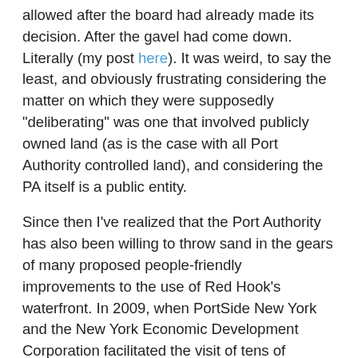allowed after the board had already made its decision. After the gavel had come down. Literally (my post here). It was weird, to say the least, and obviously frustrating considering the matter on which they were supposedly "deliberating" was one that involved publicly owned land (as is the case with all Port Authority controlled land), and considering the PA itself is a public entity.
Since then I've realized that the Port Authority has also been willing to throw sand in the gears of many proposed people-friendly improvements to the use of Red Hook's waterfront. In 2009, when PortSide New York and the New York Economic Development Corporation facilitated the visit of tens of historic "Dutch Flat Bottomed Boats" to our neighborhood, creating a mass mooring in the Atlantic Basin and providing a great event for the visiting vessels as well as for our community, my family and I walked to the end of Pioneer Street, through to the gates in the mesh fence to Pier 11, where the the continuing road meets the water, and we joined the hundreds of people who jumped at the opportunity to visit this "blue space", the historic Atlantic Basin - the protected harbor that is nestled behind the cruise